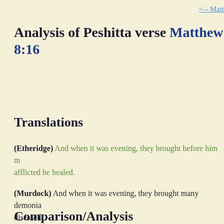<-- Matt
Analysis of Peshitta verse Matthew 8:16
Translations
(Etheridge) And when it was evening, they brought before him m... afflicted he healed.
(Murdock) And when it was evening, they brought many demonia... diseased:
(Lamsa) Now when evening came, they brought to him a great ma... afflicted.
(KJV) When the even was come, they brought unto him many tha... that were sick:
Comparison/Analysis